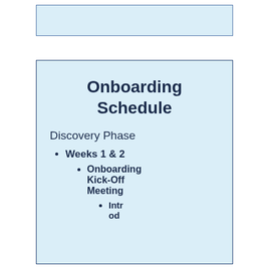[Figure (other): Top decorative blue box header region]
Onboarding Schedule
Discovery Phase
Weeks 1 & 2
Onboarding Kick-Off Meeting
Introd